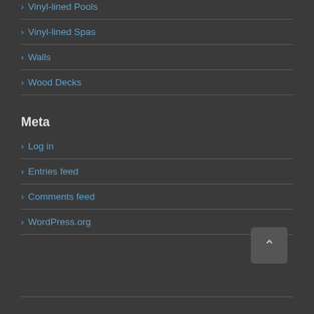> Vinyl-lined Spas
> Walls
> Wood Decks
Meta
> Log in
> Entries feed
> Comments feed
> WordPress.org